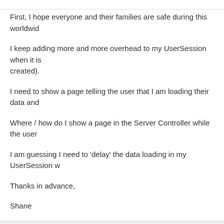First, I hope everyone and their families are safe during this worldwid...
I keep adding more and more overhead to my UserSession when it is... created).
I need to show a page telling the user that I am loading their data and...
Where / how do I show a page in the Server Controller while the user...
I am guessing I need to 'delay' the data loading in my UserSession w...
Thanks in advance,
Shane
[Figure (other): Find button with magnifying glass icon in a toolbar area]
DanBarclay
Team Zed
★★★